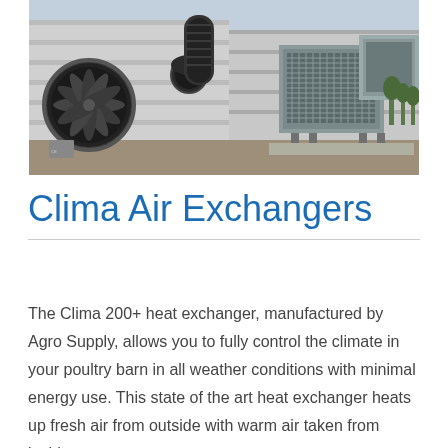[Figure (photo): Outdoor industrial HVAC/heat exchanger equipment mounted along the exterior wall of a large agricultural poultry barn. Large circular exhaust fans are visible on the left, and rectangular heat exchanger units on metal stands are on the right. Flexible black ducting connects the units. Sky is overcast.]
Clima Air Exchangers
The Clima 200+ heat exchanger, manufactured by Agro Supply, allows you to fully control the climate in your poultry barn in all weather conditions with minimal energy use. This state of the art heat exchanger heats up fresh air from outside with warm air taken from inside